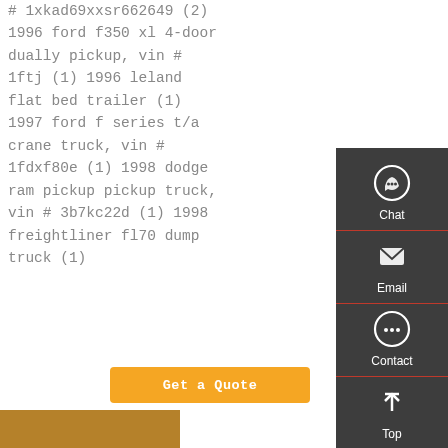# 1xkad69xxsr662649 (2) 1996 ford f350 xl 4-door dually pickup, vin # 1ftj (1) 1996 leland flat bed trailer (1) 1997 ford f series t/a crane truck, vin # 1fdxf80e (1) 1998 dodge ram pickup pickup truck, vin # 3b7kc22d (1) 1998 freightliner fl70 dump truck (1)
[Figure (screenshot): Sidebar with Chat, Email, Contact, and Top navigation buttons on dark gray background]
[Figure (photo): Partial photo strip at bottom left of page]